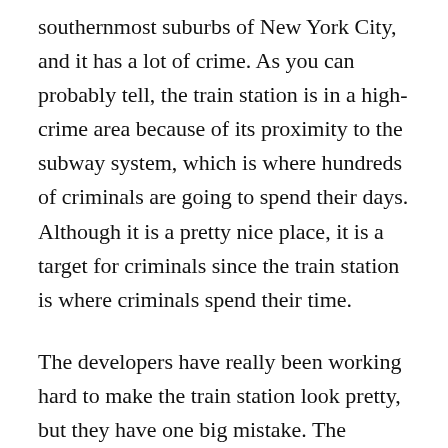southernmost suburbs of New York City, and it has a lot of crime. As you can probably tell, the train station is in a high-crime area because of its proximity to the subway system, which is where hundreds of criminals are going to spend their days. Although it is a pretty nice place, it is a target for criminals since the train station is where criminals spend their time.
The developers have really been working hard to make the train station look pretty, but they have one big mistake. The station is actually a bunch of train tracks and signals. The idea is that the trains will stop and wait for the police to get there, and it would be nice to have that waiting area. The